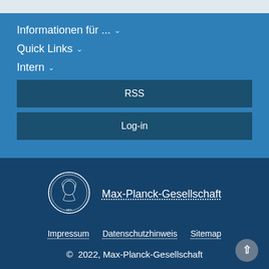Informationen für ... ∨
Quick Links ∨
Intern ∨
RSS
Log-in
[Figure (logo): Max-Planck-Gesellschaft circular medallion logo with profile portrait]
Max-Planck-Gesellschaft
Impressum    Datenschutzhinweis    Sitemap
© 2022, Max-Planck-Gesellschaft